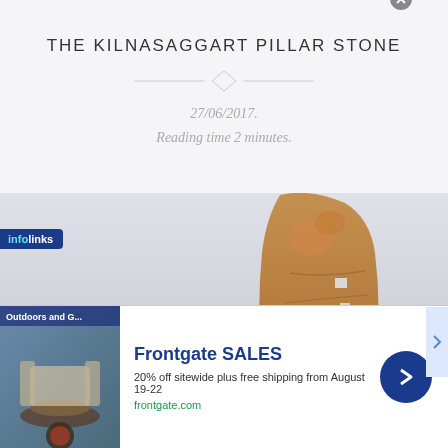THE KILNASAGGART PILLAR STONE
27/06/2017.
Reading time 2 minutes.
[Figure (photo): Photograph of the Kilnasaggart Pillar Stone, a tall sandstone standing stone with inscriptions, photographed against a grey sky background]
infolinks
Frontgate SALES
20% off sitewide plus free shipping from August 19-22
frontgate.com